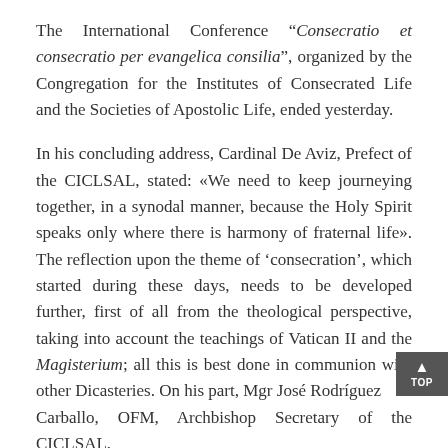The International Conference “Consecratio et consecratio per evangelica consilia”, organized by the Congregation for the Institutes of Consecrated Life and the Societies of Apostolic Life, ended yesterday.
In his concluding address, Cardinal De Aviz, Prefect of the CICLSAL, stated: «We need to keep journeying together, in a synodal manner, because the Holy Spirit speaks only where there is harmony of fraternal life». The reflection upon the theme of ‘consecration’, which started during these days, needs to be developed further, first of all from the theological perspective, taking into account the teachings of Vatican II and the Magisterium; all this is best done in communion with other Dicasteries. On his part, Mgr José Rodríguez Carballo, OFM, Archbishop Secretary of the CICLSAL,